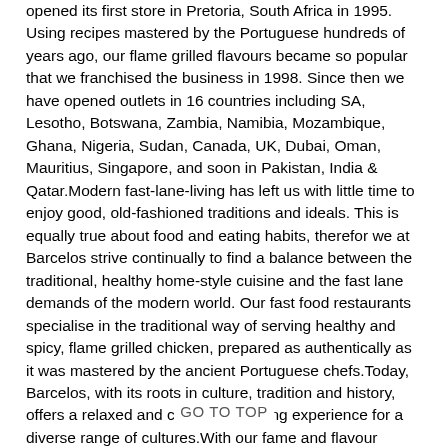opened its first store in Pretoria, South Africa in 1995. Using recipes mastered by the Portuguese hundreds of years ago, our flame grilled flavours became so popular that we franchised the business in 1998. Since then we have opened outlets in 16 countries including SA, Lesotho, Botswana, Zambia, Namibia, Mozambique, Ghana, Nigeria, Sudan, Canada, UK, Dubai, Oman, Mauritius, Singapore, and soon in Pakistan, India & Qatar.Modern fast-lane-living has left us with little time to enjoy good, old-fashioned traditions and ideals. This is equally true about food and eating habits, therefor we at Barcelos strive continually to find a balance between the traditional, healthy home-style cuisine and the fast lane demands of the modern world. Our fast food restaurants specialise in the traditional way of serving healthy and spicy, flame grilled chicken, prepared as authentically as it was mastered by the ancient Portuguese chefs.Today, Barcelos, with its roots in culture, tradition and history, offers a relaxed and convenient dining experience for a diverse range of cultures.With our fame and flavour rooted firmly in tradition, authentic recipes and friendly service, Barcelos is a forward-thinking company and establish our brand globally.
GO TO TOP